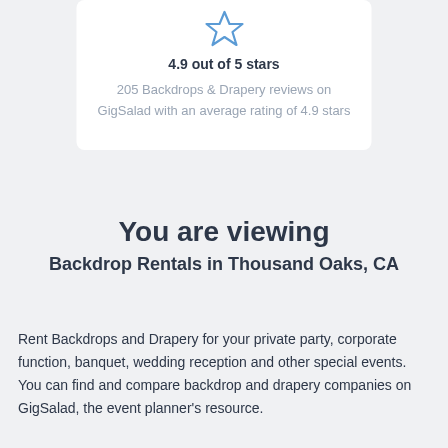[Figure (illustration): Blue star/award icon at top of card]
4.9 out of 5 stars
205 Backdrops & Drapery reviews on GigSalad with an average rating of 4.9 stars
You are viewing
Backdrop Rentals in Thousand Oaks, CA
Rent Backdrops and Drapery for your private party, corporate function, banquet, wedding reception and other special events. You can find and compare backdrop and drapery companies on GigSalad, the event planner's resource.